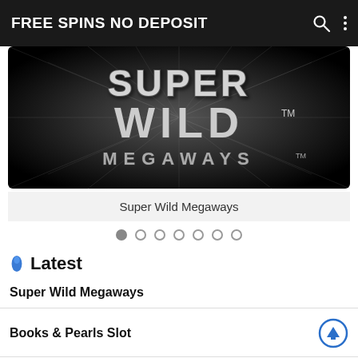FREE SPINS NO DEPOSIT
[Figure (screenshot): Super Wild Megaways slot game logo on dark background with radiating light rays. Silver 3D block letters read SUPER WILD MEGAWAYS with trademark symbols.]
Super Wild Megaways
Latest
Super Wild Megaways
Books & Pearls Slot